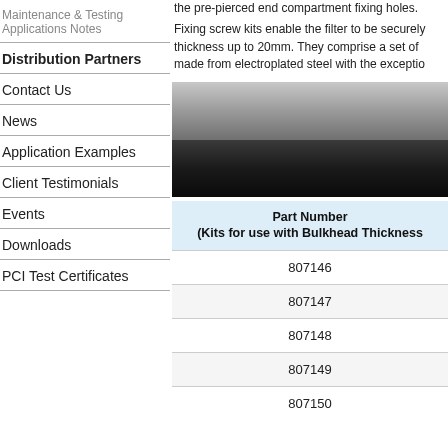Maintenance & Testing Applications Notes
Distribution Partners
Contact Us
News
Application Examples
Client Testimonials
Events
Downloads
PCI Test Certificates
the pre-pierced end compartment fixing holes.
Fixing screw kits enable the filter to be securely thickness up to 20mm. They comprise a set of made from electroplated steel with the exceptio
[Figure (photo): Product image showing two views of a filter/bulkhead mounting component — upper portion light grey gradient, lower portion dark/black gradient]
| Part Number
(Kits for use with Bulkhead Thickness |
| --- |
| 807146 |
| 807147 |
| 807148 |
| 807149 |
| 807150 |